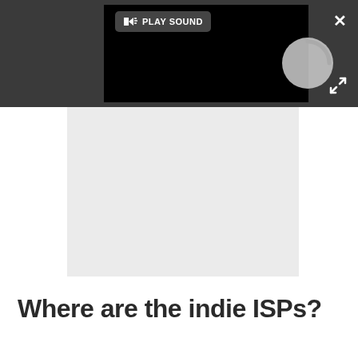[Figure (screenshot): Dark toolbar background with video player showing loading spinner and PLAY SOUND button, plus close (X) and expand (arrows) UI controls]
[Figure (screenshot): Gray placeholder/loading area below the video player]
Where are the indie ISPs?